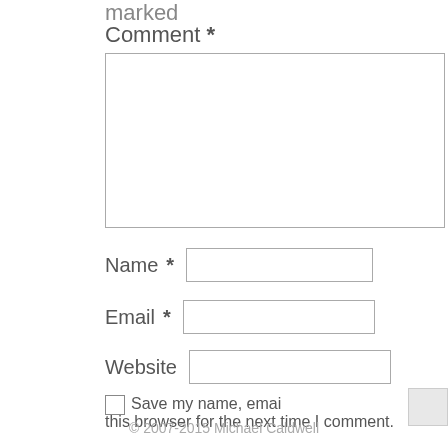marked
Comment *
Name *
Email *
Website
Save my name, email, and website in this browser for the next time I comment.
© 2007-2015 Michael Caldwell